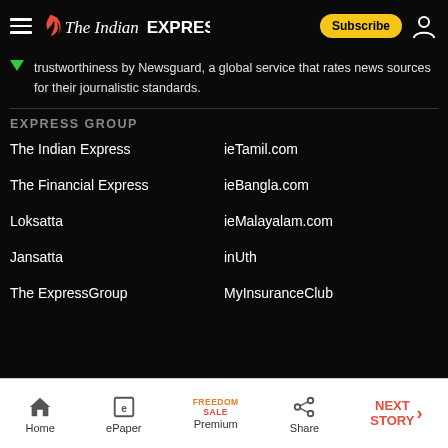The Indian Express
trustworthiness by Newsguard, a global service that rates news sources for their journalistic standards.
EXPRESS GROUP
The Indian Express
ieTamil.com
The Financial Express
ieBangla.com
Loksatta
ieMalayalam.com
Jansatta
inUth
The ExpressGroup
MyInsuranceClub
Home | ePaper | Premium | Share | NEXT STORY